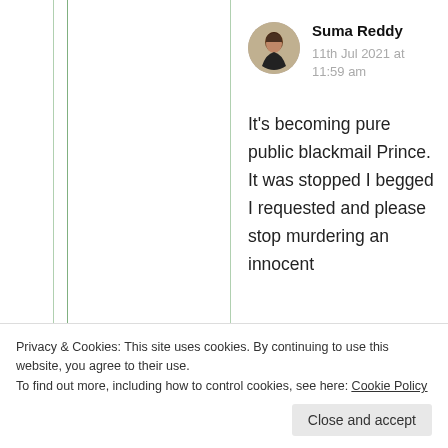[Figure (photo): Circular avatar photo of Suma Reddy, a person with dark hair against a blurred background]
Suma Reddy
11th Jul 2021 at 11:59 am
It’s becoming pure public blackmail Prince. It was stopped I begged I requested and please stop murdering an innocent
mental health
Privacy & Cookies: This site uses cookies. By continuing to use this website, you agree to their use.
To find out more, including how to control cookies, see here: Cookie Policy
Close and accept